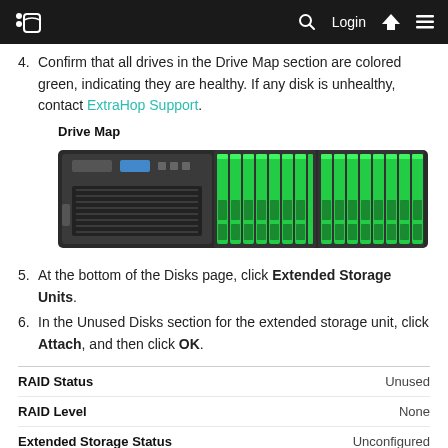ExtraHop navigation header with logo, search, Login, home and menu icons
4. Confirm that all drives in the Drive Map section are colored green, indicating they are healthy. If any disk is unhealthy, contact ExtraHop Support.
Drive Map
[Figure (photo): Server rack unit showing green lit disk drives arranged in two groups across a dark chassis]
5. At the bottom of the Disks page, click Extended Storage Units.
6. In the Unused Disks section for the extended storage unit, click Attach, and then click OK.
| Field | Value |
| --- | --- |
| RAID Status | Unused |
| RAID Level | None |
| Extended Storage Status | Unconfigured |
| Manage Extended Storage | Attach |